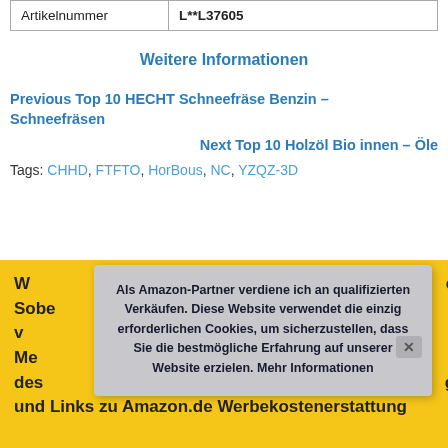| Artikelnummer | L**L37605 |
Weitere Informationen
Previous Top 10 HECHT Schneefräse Benzin – Schneefräsen
Next Top 10 Holzöl Bio innen – Öle
Tags: CHHD, FTFTO, HorBous, NC, YZQZ-3D
Als Amazon-Partner verdiene ich an qualifizierten Verkäufen. Diese Website verwendet die einzig erforderlichen Cookies, um sicherzustellen, dass Sie die bestmögliche Erfahrung auf unserer Website erzielen. Mehr Informationen
und Links zu Amazon.de Werbekostenerstattung